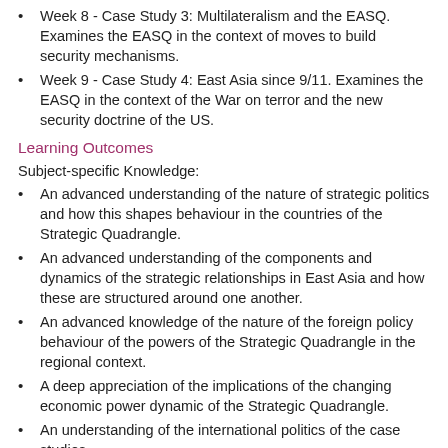Week 8 - Case Study 3: Multilateralism and the EASQ. Examines the EASQ in the context of moves to build security mechanisms.
Week 9 - Case Study 4: East Asia since 9/11. Examines the EASQ in the context of the War on terror and the new security doctrine of the US.
Learning Outcomes
Subject-specific Knowledge:
An advanced understanding of the nature of strategic politics and how this shapes behaviour in the countries of the Strategic Quadrangle.
An advanced understanding of the components and dynamics of the strategic relationships in East Asia and how these are structured around one another.
An advanced knowledge of the nature of the foreign policy behaviour of the powers of the Strategic Quadrangle in the regional context.
A deep appreciation of the implications of the changing economic power dynamic of the Strategic Quadrangle.
An understanding of the international politics of the case studies.
Subject-specific Skills: